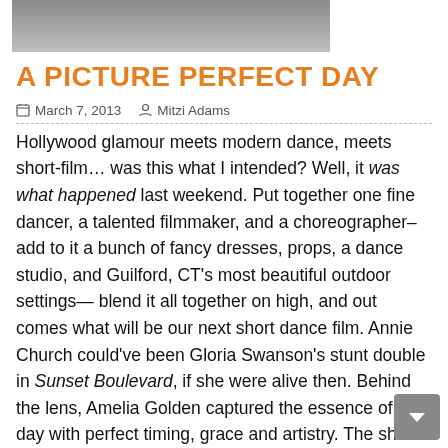[Figure (photo): Partial photo strip at top of page showing a dark background with what appears to be a person.]
A PICTURE PERFECT DAY
March 7, 2013   Mitzi Adams
Hollywood glamour meets modern dance, meets short-film… was this what I intended? Well, it was what happened last weekend. Put together one fine dancer, a talented filmmaker, and a choreographer– add to it a bunch of fancy dresses, props, a dance studio, and Guilford, CT's most beautiful outdoor settings— blend it all together on high, and out comes what will be our next short dance film. Annie Church could've been Gloria Swanson's stunt double in Sunset Boulevard, if she were alive then. Behind the lens, Amelia Golden captured the essence of the day with perfect timing, grace and artistry. The shoot in Guilford at the New Haven Ballet Studio, had us in rare form. I joked with Annie